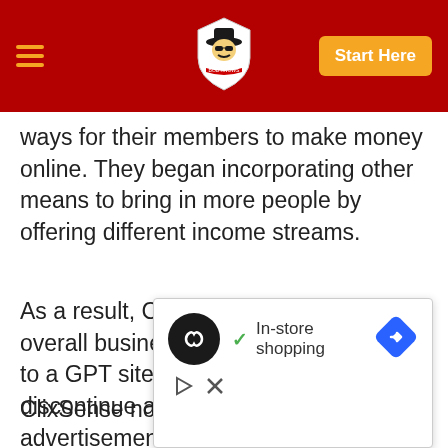Navigation bar with hamburger menu, logo, and Start Here button
ways for their members to make money online. They began incorporating other means to bring in more people by offering different income streams.
As a result, ClixSense changed its overall business model form a PTC site to a GPT site. They decided to discontinue all of its PTC advertisements in 2017.
ClixSense now also offers an affiliate
[Figure (screenshot): Ad overlay showing a dark circular icon with infinity-like symbol, a checkmark with 'In-store shopping' text, a blue navigation diamond icon, and close/play controls at bottom.]